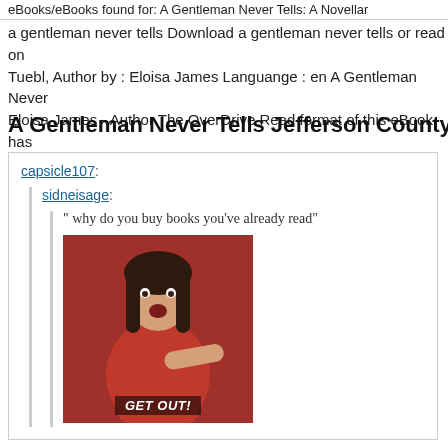eBooks/eBooks found for: A Gentleman Never Tells: A Novellar
a gentleman never tells Download a gentleman never tells or read on Tuebl, Author by : Eloisa James Languange : en A Gentleman Never Eloisa James - Author The OverDrive Read format of this eBook has plays while you read
A Gentleman Never Tells Jefferson County Public Libr
capsicle107:
sidneisage:
" why do you buy books you've already read"
[Image: GET OUT!]